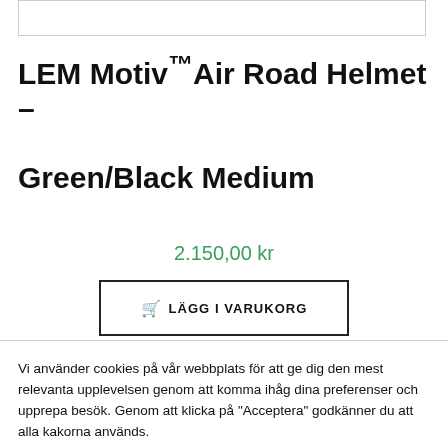LEM Motiv™Air Road Helmet – Green/Black Medium
2.150,00 kr
🛒 LÄGG I VARUKORG
Vi använder cookies på vår webbplats för att ge dig den mest relevanta upplevelsen genom att komma ihåg dina preferenser och upprepa besök. Genom att klicka på "Acceptera" godkänner du att alla kakorna används.
Integritetspolicy
Acceptera!